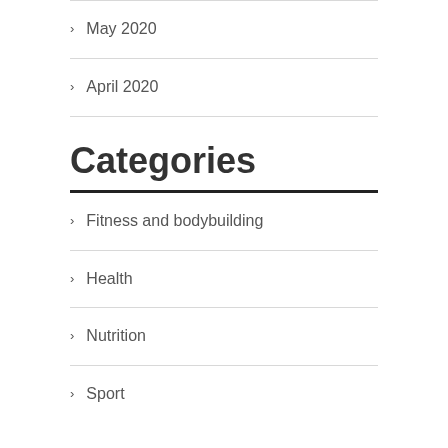May 2020
April 2020
Categories
Fitness and bodybuilding
Health
Nutrition
Sport